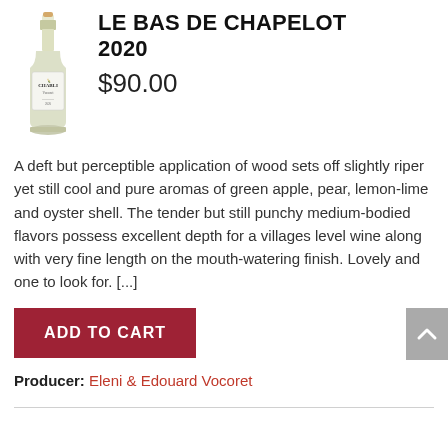[Figure (illustration): Wine bottle with label reading CHABLIS]
LE BAS DE CHAPELOT 2020
$90.00
A deft but perceptible application of wood sets off slightly riper yet still cool and pure aromas of green apple, pear, lemon-lime and oyster shell. The tender but still punchy medium-bodied flavors possess excellent depth for a villages level wine along with very fine length on the mouth-watering finish. Lovely and one to look for. [...]
ADD TO CART
Producer: Eleni & Edouard Vocoret